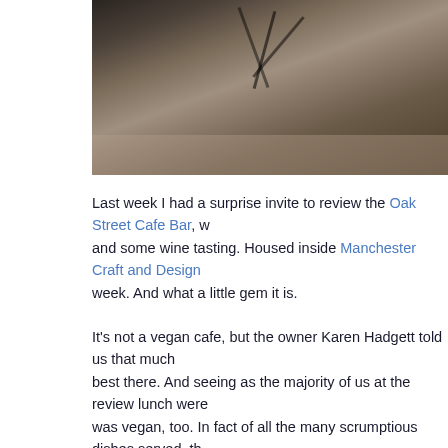[Figure (photo): Partial view of a bicycle wheel against a stone or brick background, cropped at top of page]
Last week I had a surprise invite to review the Oak Street Cafe Bar, w... and some wine tasting. Housed inside Manchester Craft and Design... week. And what a little gem it is.
It's not a vegan cafe, but the owner Karen Hadgett told us that much... best there. And seeing as the majority of us at the review lunch were... was vegan, too. In fact of all the many scrumptious dishes served, th... dishes.
[Figure (photo): Close-up photo of cafe table setting with cups and dishes, partially visible at bottom of page]